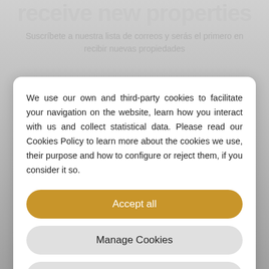receive new properties
Suscríbete a nuestra lista de correos y serás el primero en recibir nuevas propiedades
We use our own and third-party cookies to facilitate your navigation on the website, learn how you interact with us and collect statistical data. Please read our Cookies Policy to learn more about the cookies we use, their purpose and how to configure or reject them, if you consider it so.
Accept all
Manage Cookies
Reject
Envelo